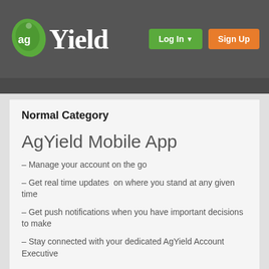[Figure (logo): AgYield logo: green leaf icon with 'ag' text and 'Yield' in white serif font on dark grey header bar]
[Figure (other): Green 'Log In' button with dropdown arrow and orange 'Sign Up' button in header]
Normal Category
AgYield Mobile App
– Manage your account on the go
– Get real time updates  on where you stand at any given time
– Get push notifications when you have important decisions to make
– Stay connected with your dedicated AgYield Account Executive